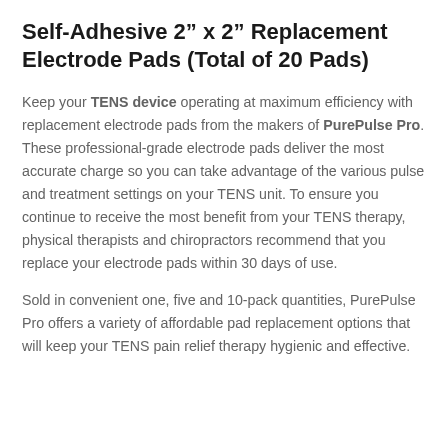Self-Adhesive 2″ x 2″ Replacement Electrode Pads (Total of 20 Pads)
Keep your TENS device operating at maximum efficiency with replacement electrode pads from the makers of PurePulse Pro. These professional-grade electrode pads deliver the most accurate charge so you can take advantage of the various pulse and treatment settings on your TENS unit. To ensure you continue to receive the most benefit from your TENS therapy, physical therapists and chiropractors recommend that you replace your electrode pads within 30 days of use.
Sold in convenient one, five and 10-pack quantities, PurePulse Pro offers a variety of affordable pad replacement options that will keep your TENS pain relief therapy hygienic and effective.